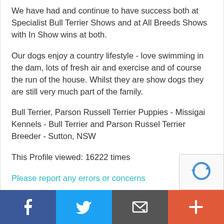We have had and continue to have success both at Specialist Bull Terrier Shows and at All Breeds Shows with In Show wins at both.
Our dogs enjoy a country lifestyle - love swimming in the dam, lots of fresh air and exercise and of course the run of the house. Whilst they are show dogs they are still very much part of the family.
Bull Terrier, Parson Russell Terrier Puppies - Missigai Kennels - Bull Terrier and Parson Russel Terrier Breeder - Sutton, NSW
This Profile viewed: 16222 times
Please report any errors or concerns
[Figure (other): reCAPTCHA widget with blue recycling-style icon]
Social share bar with Facebook, Twitter, Email, and Plus buttons